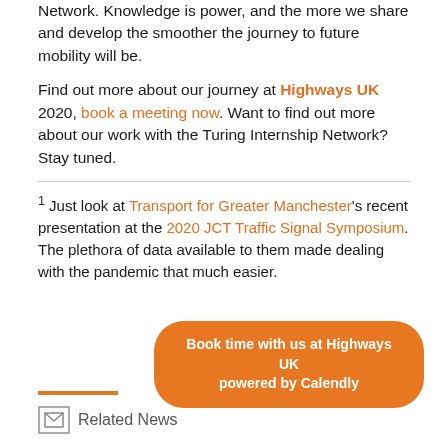Network. Knowledge is power, and the more we share and develop the smoother the journey to future mobility will be.
Find out more about our journey at Highways UK 2020, book a meeting now. Want to find out more about our work with the Turing Internship Network? Stay tuned.
1 Just look at Transport for Greater Manchester's recent presentation at the 2020 JCT Traffic Signal Symposium. The plethora of data available to them made dealing with the pandemic that much easier.
[Figure (other): Orange rounded rectangle button reading 'Book time with us at Highways UK powered by Calendly']
Related News